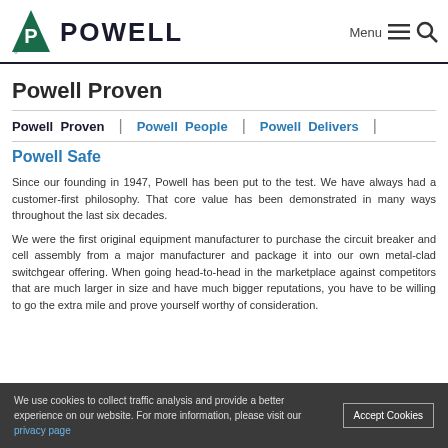POWELL | Menu
Powell Proven
Powell Proven | Powell People | Powell Delivers | Powell Safe
Since our founding in 1947, Powell has been put to the test. We have always had a customer-first philosophy. That core value has been demonstrated in many ways throughout the last six decades.
We were the first original equipment manufacturer to purchase the circuit breaker and cell assembly from a major manufacturer and package it into our own metal-clad switchgear offering. When going head-to-head in the marketplace against competitors that are much larger in size and have much bigger reputations, you have to be willing to go the extra mile and prove yourself worthy of consideration.
We use cookies to collect traffic analysis and provide a better experience on our website. For more information, please visit our privacy page | Accept Cookies